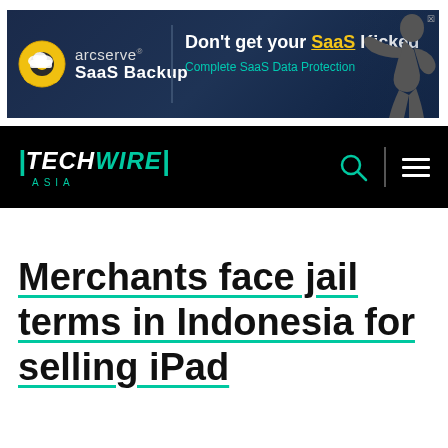[Figure (other): Arcserve SaaS Backup advertisement banner with a fighter/boxer image on the right side. Text: 'Don't get your SaaS Kicked - Complete SaaS Data Protection']
TECHWIRE ASIA - navigation bar with logo, search icon, and menu icon
Merchants face jail terms in Indonesia for selling iPad